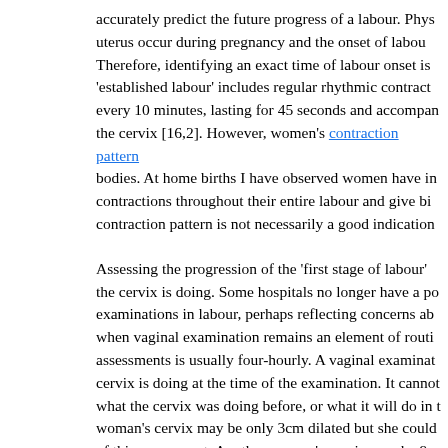accurately predict the future progress of a labour. Physiological changes in the uterus occur during pregnancy and the onset of labour is a gradual process. Therefore, identifying an exact time of labour onset is not straightforward. 'established labour' includes regular rhythmic contractions occurring at least every 10 minutes, lasting for 45 seconds and accompanied by dilation of the cervix [16,2]. However, women's contraction patterns vary between their bodies. At home births I have observed women have irregular and infrequent contractions throughout their entire labour and give birth normally, so contraction pattern is not necessarily a good indication.
Assessing the progression of the 'first stage of labour' involves assessing what the cervix is doing. Some hospitals no longer have a policy of routine vaginal examinations in labour, perhaps reflecting concerns about their accuracy, but when vaginal examination remains an element of routine care, the frequency of assessments is usually four-hourly. A vaginal examination can only assess what the cervix is doing at the time of the examination. It cannot tell practitioners what the cervix was doing before, or what it will do in the future. One woman's cervix may be only 3cm dilated but she could be near the end of this assessment. Another woman's cervix may be 9cm